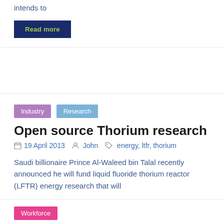intends to
Read more
Industry
Research
Open source Thorium research
19 April 2013  John  energy, ltfr, thorium
Saudi billionaire Prince Al-Waleed bin Talal recently announced he will fund liquid fluoride thorium reactor (LFTR) energy research that will
Read more
Workforce